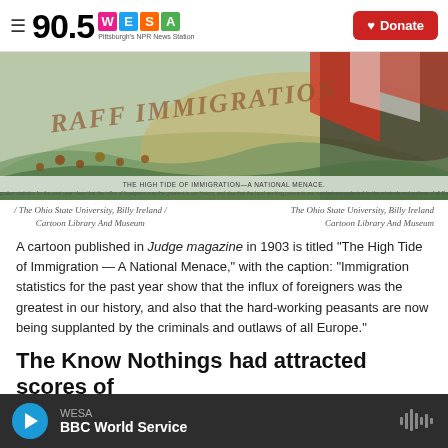90.5 WESA – Pittsburgh's NPR News Station | Donate
[Figure (illustration): Historical cartoon titled 'The High Tide of Immigration – A National Menace' published in Judge magazine, 1903. Shows figures in turbulent waves with large text overlay reading 'RAFF IMMIGRATION'.]
/ The Ohio State University, Billy Ireland / Cartoon Library And Museum | The Ohio State University, Billy Ireland Cartoon Library And Museum
A cartoon published in Judge magazine in 1903 is titled "The High Tide of Immigration — A National Menace," with the caption: "Immigration statistics for the past year show that the influx of foreigners was the greatest in our history, and also that the hard-working peasants are now being supplanted by the criminals and outlaws of all Europe."
The Know Nothings had attracted scores of
WESA – BBC World Service